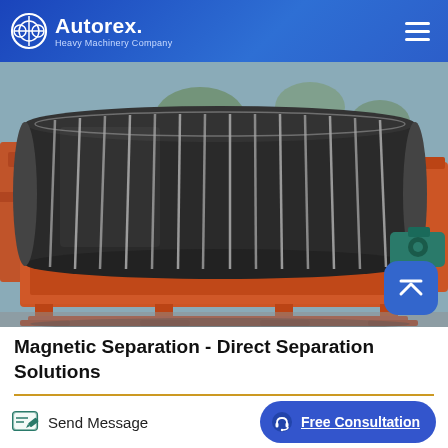Autorex Heavy Machinery Company
[Figure (photo): Large industrial magnetic separator machine with orange/red metal frame and cylindrical drum with ribbed surface, displayed outdoors in a factory yard]
Magnetic Separation - Direct Separation Solutions
Send Message
Free Consultation